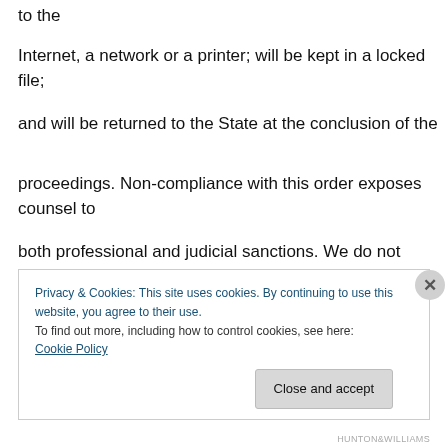to the
Internet, a network or a printer; will be kept in a locked file;
and will be returned to the State at the conclusion of the
proceedings. Non-compliance with this order exposes counsel to
both professional and judicial sanctions. We do not agree that
the protective order need track all of the provisions
Privacy & Cookies: This site uses cookies. By continuing to use this website, you agree to their use. To find out more, including how to control cookies, see here: Cookie Policy
Close and accept